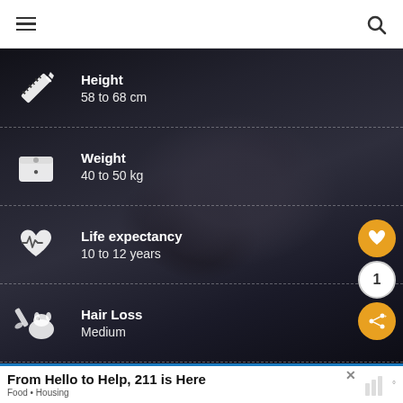Navigation menu and search icon
[Figure (infographic): Dog breed info card overlaid on dark background photo of a black dog. Shows stats: Height 58 to 68 cm, Weight 40 to 50 kg, Life expectancy 10 to 12 years, Hair Loss Medium, Excercise Need High. Each row has a white icon on the left.]
Height
58 to 68 cm
Weight
40 to 50 kg
Life expectancy
10 to 12 years
Hair Loss
Medium
Excercise Need
High
From Hello to Help, 211 is Here
Food • Housing